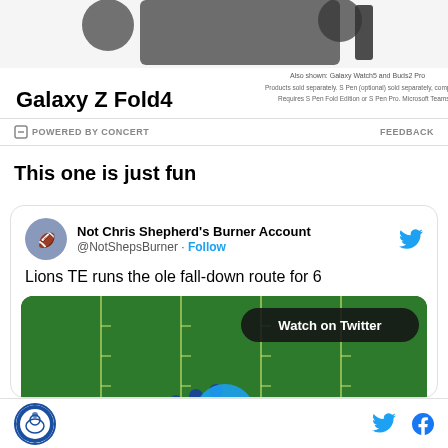[Figure (photo): Samsung Galaxy Z Fold4 advertisement banner with product image at top showing phone, earbuds, and stylus. Bold text reads 'Galaxy Z Fold4'. Smaller text on right: 'Also shown: Galaxy Watch5 and Buds2 Pro. Products sold separately. S Pen (optional) sold separately, compatible only with main display. Requires S Pen Fold Edition or S Pen Pro. Microsoft Teams requires separate download.']
POWERED BY CONCERT   FEEDBACK
This one is just fun
[Figure (screenshot): Embedded tweet from @NotShepsBurner (Not Chris Shepherd's Burner Account) with text 'Lions TE runs the ole fall-down route for 6' and a video thumbnail showing a football field from above with a 'Watch on Twitter' button and play button overlay.]
Site logo with Twitter and Facebook social icons